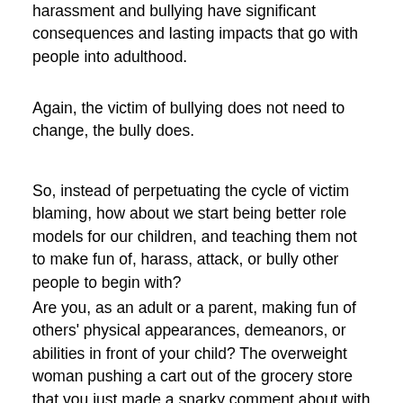harassment and bullying have significant consequences and lasting impacts that go with people into adulthood.
Again, the victim of bullying does not need to change, the bully does.
So, instead of perpetuating the cycle of victim blaming, how about we start being better role models for our children, and teaching them not to make fun of, harass, attack, or bully other people to begin with?
Are you, as an adult or a parent, making fun of others' physical appearances, demeanors, or abilities in front of your child? The overweight woman pushing a cart out of the grocery store that you just made a snarky comment about with your child in the backseat, listening? The mumbling you did at the old man driving slowly in front of you, trying your patience? The group of tattered looking